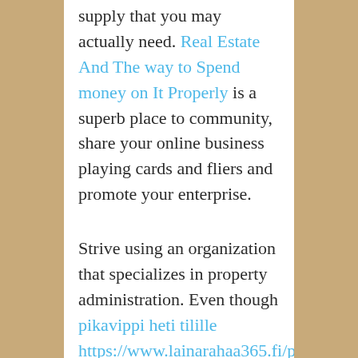supply that you may actually need. Real Estate And The way to Spend money on It Properly is a superb place to community, share your online business playing cards and fliers and promote your enterprise.
Strive using an organization that specializes in property administration. Even though pikavippi heti tilille https://www.lainarahaa365.fi/pikavippi/ will eat into your profits, ultimately, it could be a wise funding. The company screens renters for you and handles